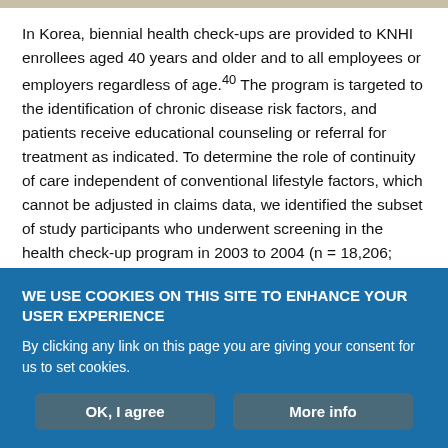In Korea, biennial health check-ups are provided to KNHI enrollees aged 40 years and older and to all employees or employers regardless of age.40 The program is targeted to the identification of chronic disease risk factors, and patients receive educational counseling or referral for treatment as indicated. To determine the role of continuity of care independent of conventional lifestyle factors, which cannot be adjusted in claims data, we identified the subset of study participants who underwent screening in the health check-up program in 2003 to 2004 (n = 18,206; 38.4%) and obtained their lifestyle data, including smoking, drinking, and body mass
WE USE COOKIES ON THIS SITE TO ENHANCE YOUR USER EXPERIENCE
By clicking any link on this page you are giving your consent for us to set cookies.